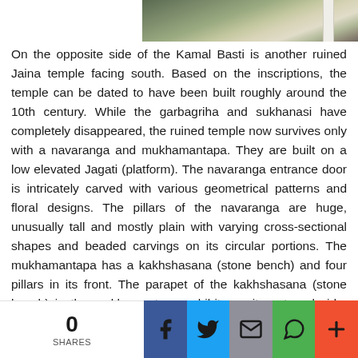[Figure (photo): Partial view of a ruined temple or stone structure outdoors, showing stone pillars or walls against a natural background.]
On the opposite side of the Kamal Basti is another ruined Jaina temple facing south. Based on the inscriptions, the temple can be dated to have been built roughly around the 10th century. While the garbagriha and sukhanasi have completely disappeared, the ruined temple now survives only with a navaranga and mukhamantapa. They are built on a low elevated Jagati (platform). The navaranga entrance door is intricately carved with various geometrical patterns and floral designs. The pillars of the navaranga are huge, unusually tall and mostly plain with varying cross-sectional shapes and beaded carvings on its circular portions. The mukhamantapa has a kakhshasana (stone bench) and four pillars in its front. The parapet of the kakhshasana (stone bench) in the mukhamantapa exhibits on its external side, rows of artistic geometrical motifs at the base and impressive statuettes of musicians, drummers and dancers at the top portions with bands of floral designs and miniature pillars in between them. It proves to be a great piece of art-work. The
0 SHARES [Facebook] [Twitter] [Email] [WhatsApp] [+]